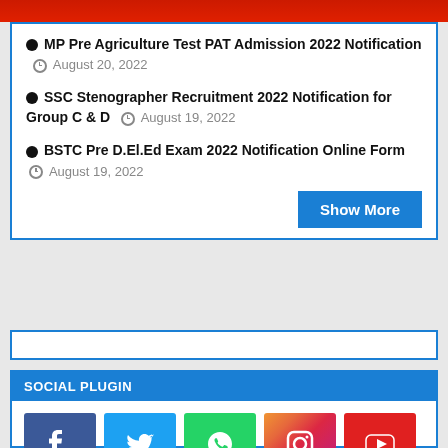MP Pre Agriculture Test PAT Admission 2022 Notification  August 20, 2022
SSC Stenographer Recruitment 2022 Notification for Group C & D  August 19, 2022
BSTC Pre D.El.Ed Exam 2022 Notification Online Form  August 19, 2022
[Figure (screenshot): Show More blue button]
SOCIAL PLUGIN
[Figure (infographic): Social media icons: Facebook, Twitter, WhatsApp, Instagram, YouTube]